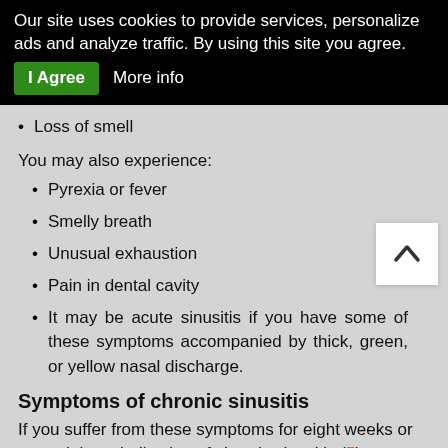Our site uses cookies to provide services, personalize ads and analyze traffic. By using this site you agree. I Agree   More info
Loss of smell
You may also experience:
Pyrexia or fever
Smelly breath
Unusual exhaustion
Pain in dental cavity
It may be acute sinusitis if you have some of these symptoms accompanied by thick, green, or yellow nasal discharge.
Symptoms of chronic sinusitis
If you suffer from these symptoms for eight weeks or more, it is an indication of chronic sinusitis (5):